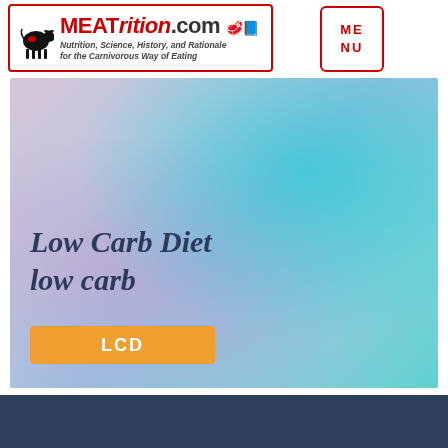[Figure (logo): MEATrition.com logo with red border, cow silhouette, site name in red bold text, and italic tagline 'Nutrition, Science, History, and Rationale for the Carnivorous Way of Eating']
[Figure (other): Menu button box with red border showing 'MENU' in red letters]
[Figure (illustration): Hero banner with colorful gradient background (pink, blue, teal) containing italic bold text 'Low Carb Diet low carb' and an orange button labeled 'LCD']
[Figure (other): Dark navy blue footer bar at bottom of page]